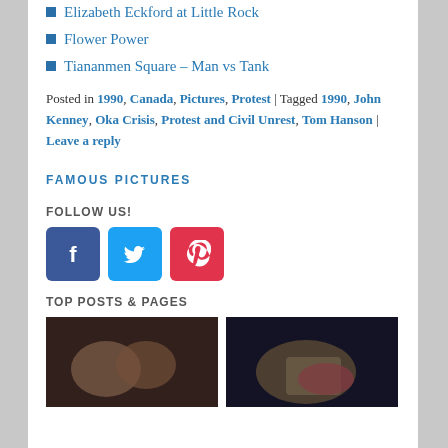Elizabeth Eckford at Little Rock
Flower Power
Tiananmen Square – Man vs Tank
Posted in 1990, Canada, Pictures, Protest | Tagged 1990, John Kenney, Oka Crisis, Protest and Civil Unrest, Tom Hanson | Leave a reply
FAMOUS PICTURES
FOLLOW US!
[Figure (infographic): Social media icons: Facebook (blue), Twitter (light blue), Pinterest (red/pink)]
TOP POSTS & PAGES
[Figure (photo): Two thumbnail photos for top posts and pages]